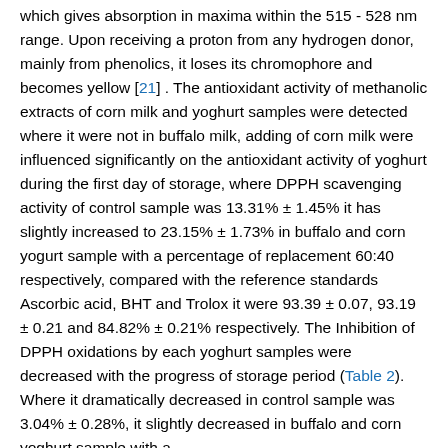...DPPH is a very stable organic free radical with a deep violet color which gives absorption in maxima within the 515 - 528 nm range. Upon receiving a proton from any hydrogen donor, mainly from phenolics, it loses its chromophore and becomes yellow [21] . The antioxidant activity of methanolic extracts of corn milk and yoghurt samples were detected where it were not in buffalo milk, adding of corn milk were influenced significantly on the antioxidant activity of yoghurt during the first day of storage, where DPPH scavenging activity of control sample was 13.31% ± 1.45% it has slightly increased to 23.15% ± 1.73% in buffalo and corn yogurt sample with a percentage of replacement 60:40 respectively, compared with the reference standards Ascorbic acid, BHT and Trolox it were 93.39 ± 0.07, 93.19 ± 0.21 and 84.82% ± 0.21% respectively. The Inhibition of DPPH oxidations by each yoghurt samples were decreased with the progress of storage period (Table 2). Where it dramatically decreased in control sample was 3.04% ± 0.28%, it slightly decreased in buffalo and corn yoghurt sample with a